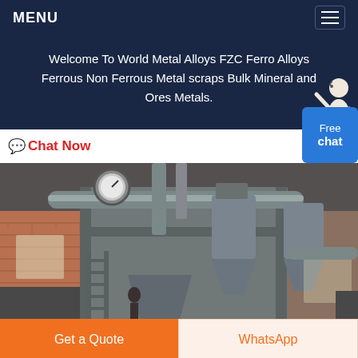MENU
Welcome To World Metal Alloys FZC Ferro Alloys Ferrous Non Ferrous Metal scraps Bulk Mineral and Ores Metals.
Chat Now
[Figure (photo): Industrial metal processing machinery in a factory setting with pipes, pressure gauges, cyclone separators and metal framework.]
Get a Quote
WhatsApp